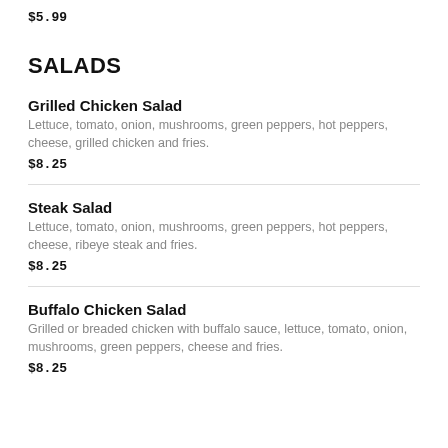$5.99
SALADS
Grilled Chicken Salad
Lettuce, tomato, onion, mushrooms, green peppers, hot peppers, cheese, grilled chicken and fries.
$8.25
Steak Salad
Lettuce, tomato, onion, mushrooms, green peppers, hot peppers, cheese, ribeye steak and fries.
$8.25
Buffalo Chicken Salad
Grilled or breaded chicken with buffalo sauce, lettuce, tomato, onion, mushrooms, green peppers, cheese and fries.
$8.25